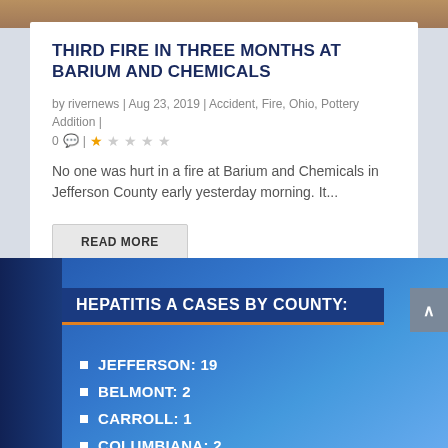[Figure (photo): Top strip showing partial image of outdoor scene]
THIRD FIRE IN THREE MONTHS AT BARIUM AND CHEMICALS
by rivernews | Aug 23, 2019 | Accident, Fire, Ohio, Pottery Addition |
0 | ★☆☆☆☆
No one was hurt in a fire at Barium and Chemicals in Jefferson County early yesterday morning. It...
READ MORE
[Figure (screenshot): TV news graphic: HEPATITIS A CASES BY COUNTY: JEFFERSON: 19, BELMONT: 2, CARROLL: 1, COLUMBIANA: 2]